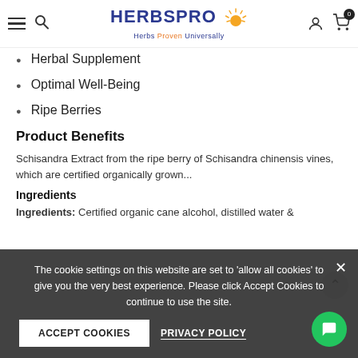HERBSPRO - Herbs Proven Universally
Herbal Supplement
Optimal Well-Being
Ripe Berries
Product Benefits
Schisandra Extract from the ripe berry of Schisandra chinensis vines, which are certified organically grown...
Ingredients
Ingredients: Certified organic cane alcohol, distilled water &
The cookie settings on this website are set to 'allow all cookies' to give you the very best experience. Please click Accept Cookies to continue to use the site.